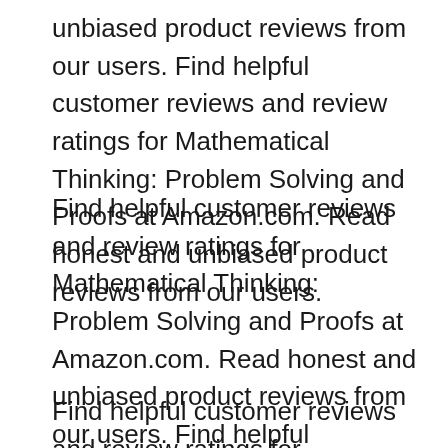unbiased product reviews from our users. Find helpful customer reviews and review ratings for Mathematical Thinking: Problem Solving and Proofs at Amazon.com. Read honest and unbiased product reviews from our users.
Find helpful customer reviews and review ratings for Mathematical Thinking: Problem Solving and Proofs at Amazon.com. Read honest and unbiased product reviews from our users. Find helpful customer reviews and review ratings for Mathematical Thinking: Problem Solving and Proofs at Amazon.com. Read honest and unbiased product reviews from our users.
Find helpful customer reviews and review ratings for Mathematical Thinking: Problem Solving and